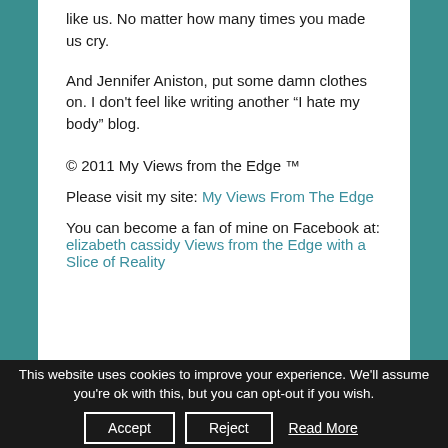like us. No matter how many times you made us cry.
And Jennifer Aniston, put some damn clothes on. I don't feel like writing another “I hate my body” blog.
© 2011 My Views from the Edge ™
Please visit my site: My Views From The Edge
You can become a fan of mine on Facebook at: elizabeth cassidy Views from the Edge with a Slice of Reality
This website uses cookies to improve your experience. We'll assume you're ok with this, but you can opt-out if you wish. Accept Reject Read More